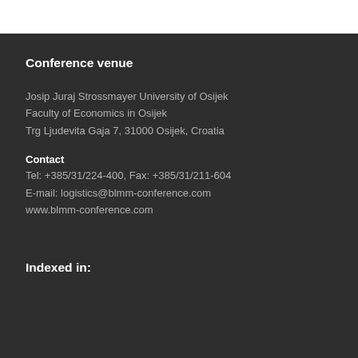Conference venue
Josip Juraj Strossmayer University of Osijek
Faculty of Economics in Osijek
Trg Ljudevita Gaja 7, 31000 Osijek, Croatia
Contact
Tel: +385/31/224-400, Fax: +385/31/211-604
E-mail: logistics@blmm-conference.com
www.blmm-conference.com
Indexed in: